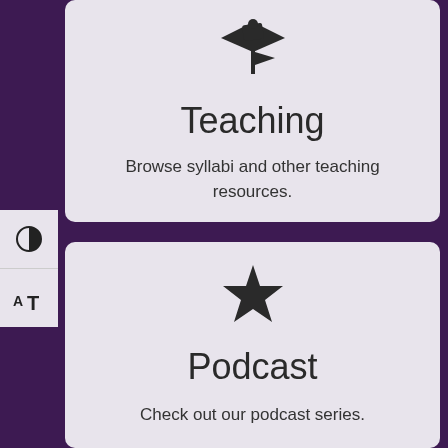[Figure (illustration): Graduation cap icon above Teaching card]
Teaching
Browse syllabi and other teaching resources.
[Figure (illustration): Star icon above Podcast card]
Podcast
Check out our podcast series.